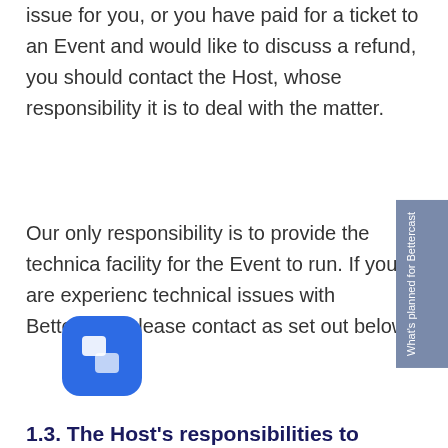issue for you, or you have paid for a ticket to an Event and would like to discuss a refund, you should contact the Host, whose responsibility it is to deal with the matter.
Our only responsibility is to provide the technical facility for the Event to run. If you are experiencing technical issues with Bettercast, please contact us as set out below.
1.3. The Host's responsibilities to you
The Host has full control over the running of an Event. This includes control over any Users, when Events are created and how they are configured, and what functionality and third-party integrations are activated for use at each Event.